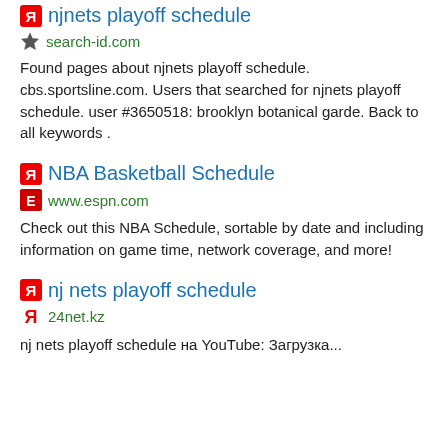njnets playoff schedule
search-id.com
Found pages about njnets playoff schedule. cbs.sportsline.com. Users that searched for njnets playoff schedule. user #3650518: brooklyn botanical garde. Back to all keywords .
NBA Basketball Schedule
www.espn.com
Check out this NBA Schedule, sortable by date and including information on game time, network coverage, and more!
nj nets playoff schedule
24net.kz
nj nets playoff schedule на YouTube: Загрузка...